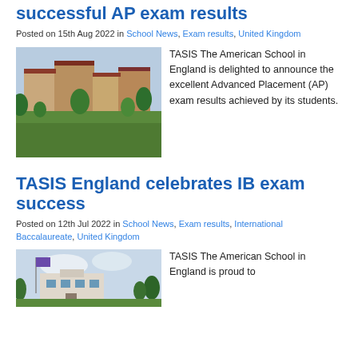successful AP exam results
Posted on 15th Aug 2022 in School News, Exam results, United Kingdom
[Figure (photo): Aerial view of TASIS The American School in England campus buildings surrounded by trees and green lawns]
TASIS The American School in England is delighted to announce the excellent Advanced Placement (AP) exam results achieved by its students.
TASIS England celebrates IB exam success
Posted on 12th Jul 2022 in School News, Exam results, International Baccalaureate, United Kingdom
[Figure (photo): TASIS England campus building with flag and trees]
TASIS The American School in England is proud to